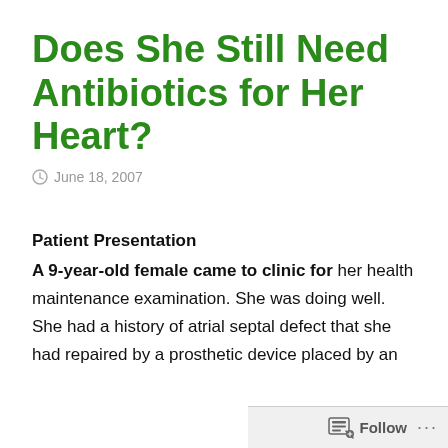Does She Still Need Antibiotics for Her Heart?
June 18, 2007
Patient Presentation
A 9-year-old female came to clinic for her health maintenance examination. She was doing well. She had a history of atrial septal defect that she had repaired by a prosthetic device placed by an